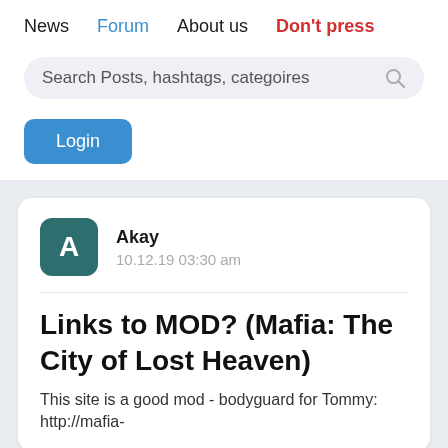News  Forum  About us  Don't press
Search Posts, hashtags, categoires
Login
Akay
10.12.19 03:30 am
Links to MOD? (Mafia: The City of Lost Heaven)
This site is a good mod - bodyguard for Tommy: http://mafia-